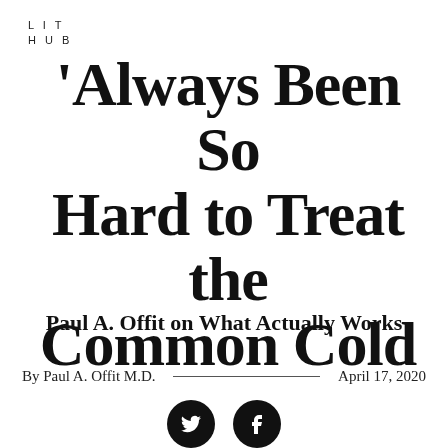LIT
HUB
Always Been So Hard to Treat the Common Cold
Paul A. Offit on What Actually Works
By Paul A. Offit M.D.  ——————  April 17, 2020
[Figure (illustration): Two circular social media icon buttons: Twitter (bird icon) and Facebook (f icon), black filled circles on white background]